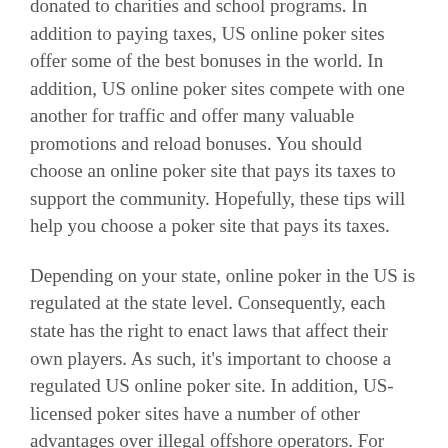donated to charities and school programs. In addition to paying taxes, US online poker sites offer some of the best bonuses in the world. In addition, US online poker sites compete with one another for traffic and offer many valuable promotions and reload bonuses. You should choose an online poker site that pays its taxes to support the community. Hopefully, these tips will help you choose a poker site that pays its taxes.
Depending on your state, online poker in the US is regulated at the state level. Consequently, each state has the right to enact laws that affect their own players. As such, it's important to choose a regulated US online poker site. In addition, US-licensed poker sites have a number of other advantages over illegal offshore operators. For example, they are required to be licensed in each state. This gives you peace of mind that you're